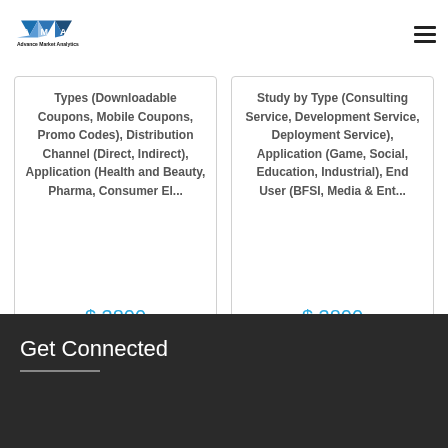[Figure (logo): Advance Market Analytics logo with blue/gray diamond chevron shapes and text 'Advance Market Analytics']
Types (Downloadable Coupons, Mobile Coupons, Promo Codes), Distribution Channel (Direct, Indirect), Application (Health and Beauty, Pharma, Consumer El... $ 3800
Study by Type (Consulting Service, Development Service, Deployment Service), Application (Game, Social, Education, Industrial), End User (BFSI, Media & Ent... $ 3800
Get Connected